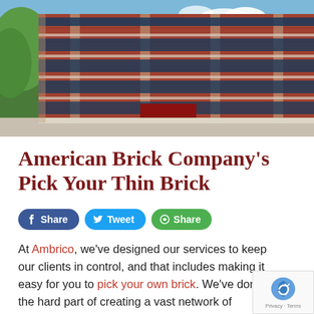[Figure (photo): Multi-story red brick commercial building with large windows and glass facade, photographed from street level against a blue sky with trees visible on the left.]
American Brick Company's Pick Your Thin Brick
[Figure (infographic): Social sharing buttons: Facebook Share (blue), Twitter Tweet (light blue), and a green Share button]
At Ambrico, we've designed our services to keep our clients in control, and that includes making it easy for you to pick your own brick. We've done the hard part of creating a vast network of industry leading manufacturers to ensure that you have the largest